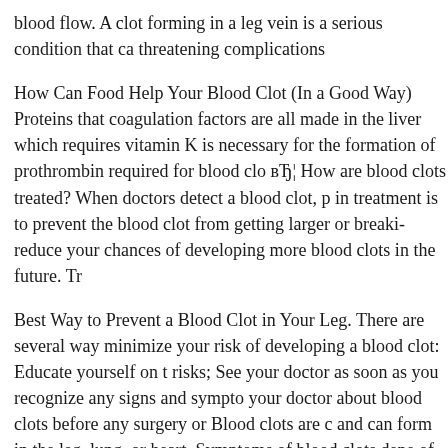blood flow. A clot forming in a leg vein is a serious condition that can cause life-threatening complications
How Can Food Help Your Blood Clot (In a Good Way) Proteins that coagulation factors are all made in the liver which requires vitamin K is necessary for the formation of prothrombin required for blood clot… How are blood clots treated? When doctors detect a blood clot, p in treatment is to prevent the blood clot from getting larger or breaking reduce your chances of developing more blood clots in the future. Tr
Best Way to Prevent a Blood Clot in Your Leg. There are several ways minimize your risk of developing a blood clot: Educate yourself on the risks; See your doctor as soon as you recognize any signs and symptoms your doctor about blood clots before any surgery or Blood clots are c and can form in the leg, lung, or heart. Symptoms of blood clots depend of the clot and the cause and include pain, redness, and swelling in the of breath, and a rapid pulse if it's in the lung. Treatment for blood clots
Feb 23, 2016В В· A blood clot in the large veins of the leg is common